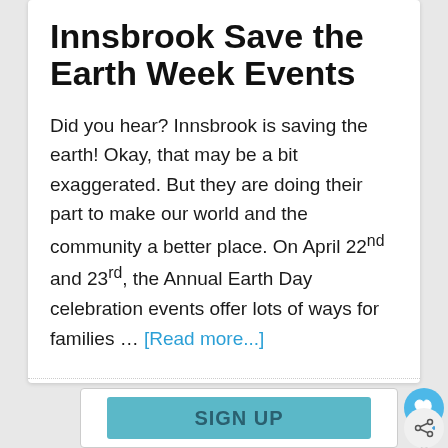Innsbrook Save the Earth Week Events
Did you hear? Innsbrook is saving the earth! Okay, that may be a bit exaggerated. But they are doing their part to make our world and the community a better place. On April 22nd and 23rd, the Annual Earth Day celebration events offer lots of ways for families … [Read more...]
[Figure (other): SIGN UP button in teal/blue color]
[Figure (other): Heart/like button (blue circle with heart icon), count of 1, and share button]